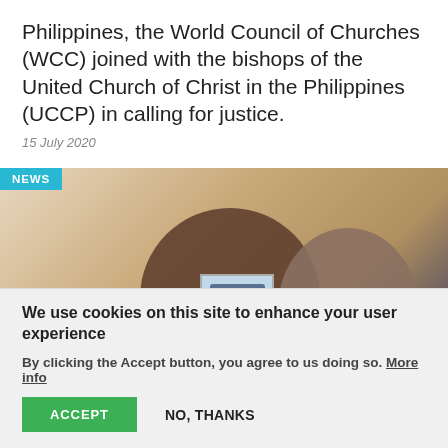Philippines, the World Council of Churches (WCC) joined with the bishops of the United Church of Christ in the Philippines (UCCP) in calling for justice.
15 July 2020
[Figure (photo): Photo showing two people, one holding up a photograph, with a NEWS badge in the top left corner.]
We use cookies on this site to enhance your user experience
By clicking the Accept button, you agree to us doing so. More info